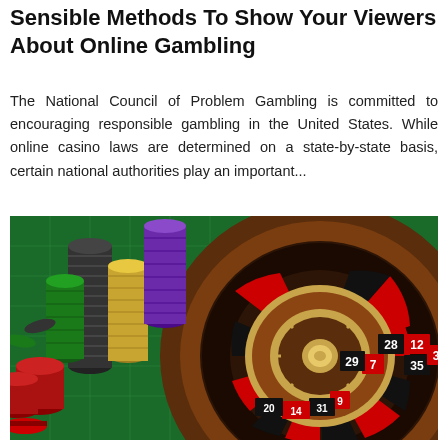Sensible Methods To Show Your Viewers About Online Gambling
The National Council of Problem Gambling is committed to encouraging responsible gambling in the United States. While online casino laws are determined on a state-by-state basis, certain national authorities play an important...
[Figure (photo): A casino roulette wheel with stacks of colorful poker chips (black, green, yellow, red) on a green felt table. The roulette wheel shows numbers including 28, 12, 35, 3, 7, 29, 9, 31, 14, 20. The wheel has a gold/brass central spindle.]